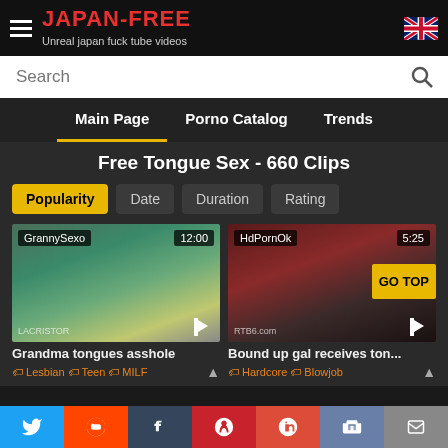JAPAN-FREE — Unreal japan fuck tube videos
Search
Main Page | Porno Catalog | Trends
Free Tongue Sex - 660 Clips
Popularity | Date | Duration | Rating
[Figure (screenshot): Video thumbnail: GrannySexo, 12:00 duration, Grandma tongues asshole]
Grandma tongues asshole
Lesbian | Teen | MILF
[Figure (screenshot): Video thumbnail: HdPornOk, 5:25 duration, Bound up gal receives ton...]
Bound up gal receives ton...
Hardcore | Blowjob
Twitter | Reddit | Tumblr | Pinterest | G+ | VK | Email